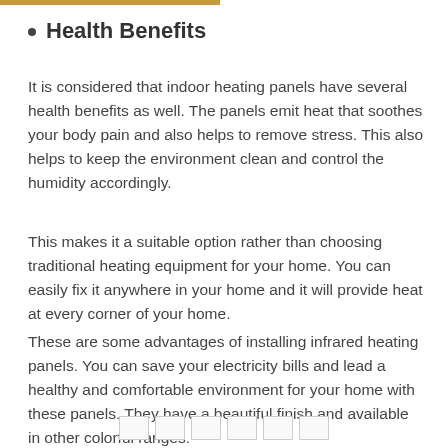Health Benefits
It is considered that indoor heating panels have several health benefits as well. The panels emit heat that soothes your body pain and also helps to remove stress. This also helps to keep the environment clean and control the humidity accordingly.
This makes it a suitable option rather than choosing traditional heating equipment for your home. You can easily fix it anywhere in your home and it will provide heat at every corner of your home.
These are some advantages of installing infrared heating panels. You can save your electricity bills and lead a healthy and comfortable environment for your home with these panels. They have a beautiful finish and available in other colorful ranges.